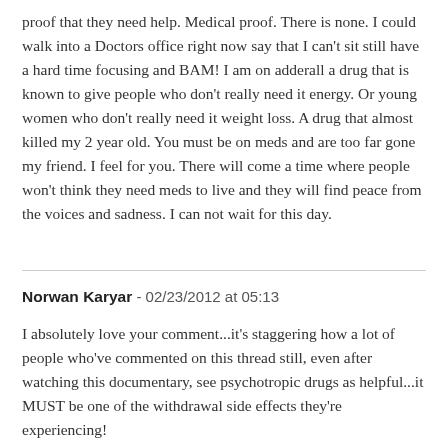proof that they need help. Medical proof. There is none. I could walk into a Doctors office right now say that I can't sit still have a hard time focusing and BAM! I am on adderall a drug that is known to give people who don't really need it energy. Or young women who don't really need it weight loss. A drug that almost killed my 2 year old. You must be on meds and are too far gone my friend. I feel for you. There will come a time where people won't think they need meds to live and they will find peace from the voices and sadness. I can not wait for this day.
Norwan Karyar - 02/23/2012 at 05:13
I absolutely love your comment...it's staggering how a lot of people who've commented on this thread still, even after watching this documentary, see psychotropic drugs as helpful...it MUST be one of the withdrawal side effects they're experiencing!